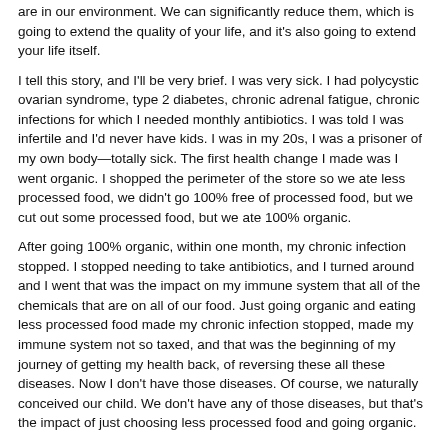are in our environment. We can significantly reduce them, which is going to extend the quality of your life, and it's also going to extend your life itself.
I tell this story, and I'll be very brief. I was very sick. I had polycystic ovarian syndrome, type 2 diabetes, chronic adrenal fatigue, chronic infections for which I needed monthly antibiotics. I was told I was infertile and I'd never have kids. I was in my 20s, I was a prisoner of my own body—totally sick. The first health change I made was I went organic. I shopped the perimeter of the store so we ate less processed food, we didn't go 100% free of processed food, but we cut out some processed food, but we ate 100% organic.
After going 100% organic, within one month, my chronic infection stopped. I stopped needing to take antibiotics, and I turned around and I went that was the impact on my immune system that all of the chemicals that are on all of our food. Just going organic and eating less processed food made my chronic infection stopped, made my immune system not so taxed, and that was the beginning of my journey of getting my health back, of reversing these all these diseases. Now I don't have those diseases. Of course, we naturally conceived our child. We don't have any of those diseases, but that's the impact of just choosing less processed food and going organic.
[01:58:57] Kathleen Gage: Absolutely, and it's incredible. It is a journey because I remember when I was about 20 or 21 years old, I had endometriosis, and that's before they even had a name for it. That's 40 some odd years ago. They just did test after test after test, and one doctor wanted to